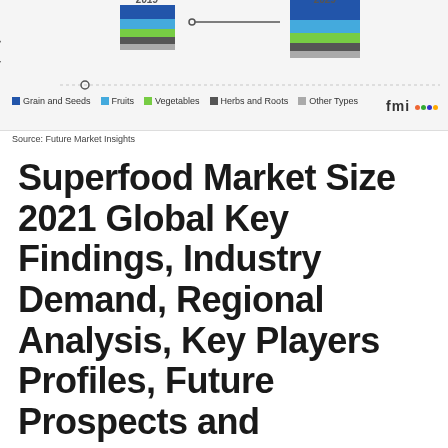[Figure (stacked-bar-chart): Partial view of a stacked bar chart showing superfood market supply by type for years 2019 and 2029, with legend items: Grain and Seeds, Fruits, Vegetables, Herbs and Roots, Other Types. Source: Future Market Insights.]
Source: Future Market Insights
Superfood Market Size 2021 Global Key Findings, Industry Demand, Regional Analysis, Key Players Profiles, Future Prospects and Forecasts to 2029
News / By iCrowdNewswire
COVID-19 Impact on Phycocyanin Market The phycocyanin market growth is anticipated to be hampered owing to the unprecedented COVID-19 pandemic. Border closures,